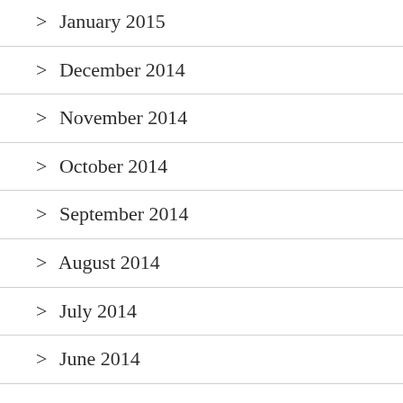> January 2015
> December 2014
> November 2014
> October 2014
> September 2014
> August 2014
> July 2014
> June 2014